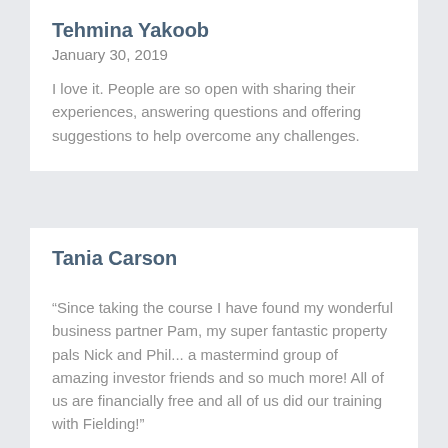Tehmina Yakoob
January 30, 2019
I love it. People are so open with sharing their experiences, answering questions and offering suggestions to help overcome any challenges.
Tania Carson
“Since taking the course I have found my wonderful business partner Pam, my super fantastic property pals Nick and Phil... a mastermind group of amazing investor friends and so much more! All of us are financially free and all of us did our training with Fielding!”